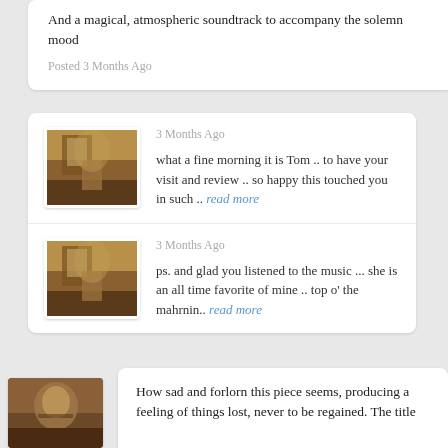And a magical, atmospheric soundtrack to accompany the solemn mood
Posted 3 Months Ago
3 Months Ago
what a fine morning it is Tom .. to have your visit and review .. so happy this touched you in such .. read more
3 Months Ago
ps. and glad you listened to the music ... she is an all time favorite of mine .. top o' the mahrnin.. read more
[Figure (photo): Small thumbnail image showing an interior room scene with warm brown tones, appears to show a window and furniture]
[Figure (photo): Small thumbnail image showing an interior room scene with warm brown tones, appears to show a window and furniture]
[Figure (photo): Sepia-toned portrait photo of a person with facial hair]
How sad and forlorn this piece seems, producing a feeling of things lost, never to be regained. The title